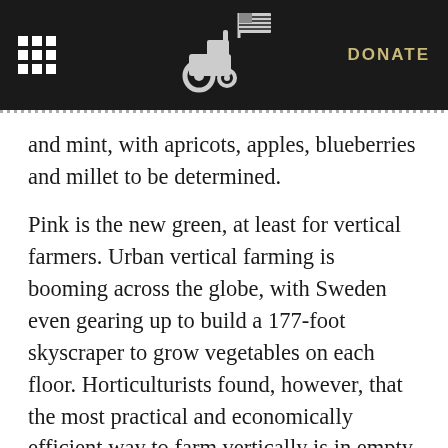DONATE
and mint, with apricots, apples, blueberries and millet to be determined.
Pink is the new green, at least for vertical farmers. Urban vertical farming is booming across the globe, with Sweden even gearing up to build a 177-foot skyscraper to grow vegetables on each floor. Horticulturists found, however, that the most practical and economically efficient way to farm vertically is in empty warehouses on the outskirts of cities, due to the lower cost of electricity. What’s more, plants only need certain types of light to grow. Rather than using fluorescent lamps to light